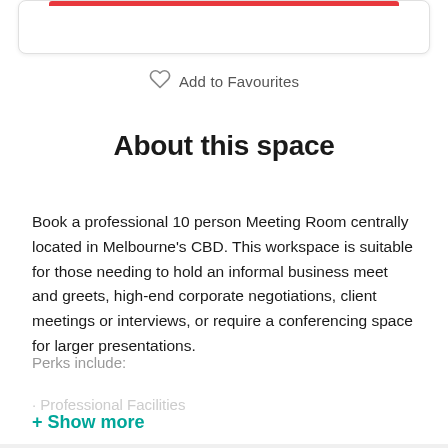Add to Favourites
About this space
Book a professional 10 person Meeting Room centrally located in Melbourne's CBD. This workspace is suitable for those needing to hold an informal business meet and greets, high-end corporate negotiations, client meetings or interviews, or require a conferencing space for larger presentations.
Perks include:
· Professional Facilities
+ Show more